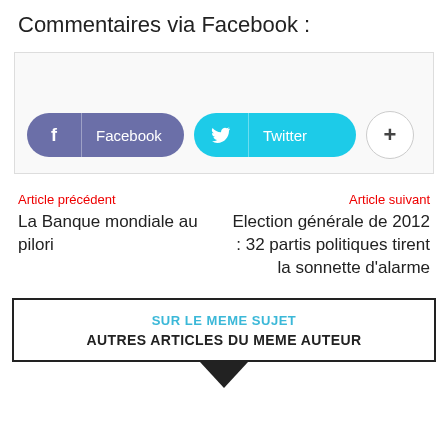Commentaires via Facebook :
[Figure (other): Social sharing buttons: Facebook (purple pill button), Twitter (cyan pill button), and a plus (+) circle button]
Article précédent
La Banque mondiale au pilori
Article suivant
Election générale de 2012 : 32 partis politiques tirent la sonnette d'alarme
SUR LE MEME SUJET
AUTRES ARTICLES DU MEME AUTEUR